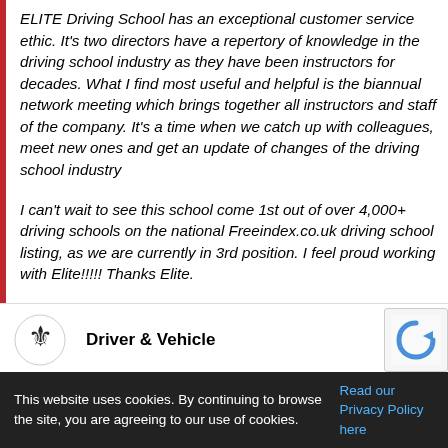ELITE Driving School has an exceptional customer service ethic. It's two directors have a repertory of knowledge in the driving school industry as they have been instructors for decades. What I find most useful and helpful is the biannual network meeting which brings together all instructors and staff of the company. It's a time when we catch up with colleagues, meet new ones and get an update of changes of the driving school industry
I can't wait to see this school come 1st out of over 4,000+ driving schools on the national Freeindex.co.uk driving school listing, as we are currently in 3rd position. I feel proud working with Elite!!!!! Thanks Elite.
[Figure (logo): Driver & Vehicle Licensing Agency (DVLA) royal crest logo]
Driver & Vehicle
This website uses cookies. By continuing to browse the site, you are agreeing to our use of cookies. Read our Privacy Policy here